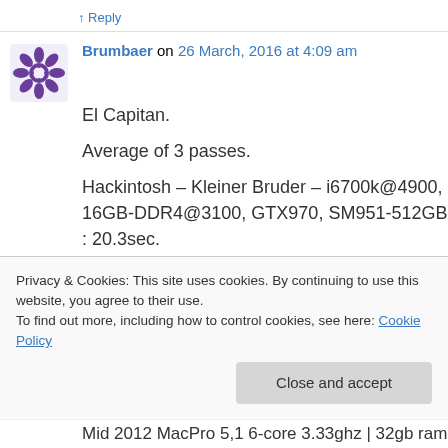↑ Reply
Brumbaer on 26 March, 2016 at 4:09 am
El Capitan.
Average of 3 passes.
Hackintosh – Kleiner Bruder – i6700k@4900, 16GB-DDR4@3100, GTX970, SM951-512GB : 20.3sec.
Hackintosh – Großer Bruder – i6700k@4700, 16GB-DDR4@3100, GTX980TI, SM850-1TB : 15.2sec.
Privacy & Cookies: This site uses cookies. By continuing to use this website, you agree to their use.
To find out more, including how to control cookies, see here: Cookie Policy
Close and accept
Mid 2012 MacPro 5,1 6-core 3.33ghz | 32gb ram